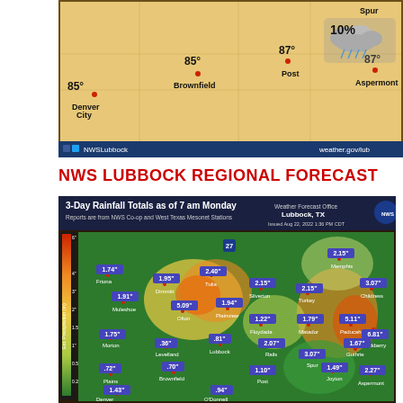[Figure (map): NWS Lubbock weather forecast map showing temperatures and 10% rain chance for cities including Denver City (85°), Brownfield (85°), Post (87°), Aspermont (87°), Spur. Weather icon showing rain cloud with 10% label. NWSLubbock social media handle and weather.gov/lub URL at bottom.]
NWS LUBBOCK REGIONAL FORECAST
[Figure (map): 3-Day Rainfall Totals as of 7 am Monday map from NWS Weather Forecast Office Lubbock TX. Reports from NWS Co-op and West Texas Mesonet Stations. Issued Aug 22 2022 1:36 PM CDT. Color-coded precipitation map showing rainfall totals across West Texas region. Values shown include: Friona 1.74", Dimmitt 1.95", Tulia 2.40", Memphis 2.15", Silverton 2.15", Turkey 2.15", Childress 3.07", Muleshoe 1.91", Olton 5.09", Plainview 1.94", Floydada 1.22", Matador 1.79", Paducah 5.11", Hackberry 6.81", Morton 1.75", Levelland .36", Lubbock .81", Rails 2.07", Guthrie 1.67", Spur 3.07", Joyton 1.49", Aspermont 2.27", Plains .72", Brownfield .70", Post 1.10", Denver City 1.43", O'Donnell .94". Legend showing Est. Precipitation (in) color scale from 0.25" (green) to 6" (red).]